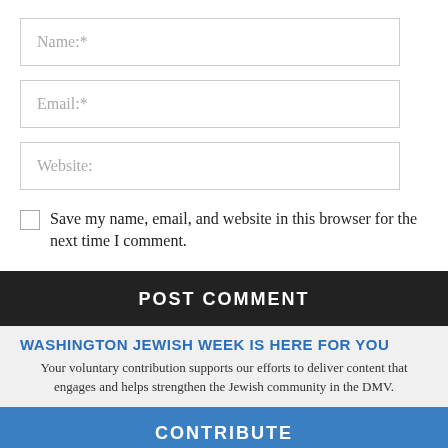Name:*
Email:*
Website:
Save my name, email, and website in this browser for the next time I comment.
POST COMMENT
WASHINGTON JEWISH WEEK IS HERE FOR YOU
Your voluntary contribution supports our efforts to deliver content that engages and helps strengthen the Jewish community in the DMV.
CONTRIBUTE
[Figure (photo): Book cover thumbnail: OLD STOCK: A REFUGEE LOVE STORY by Hannah Moscovitch]